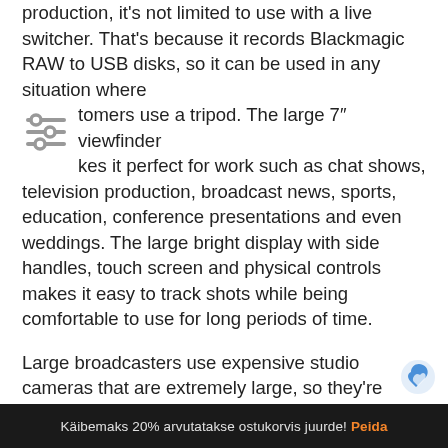production, it's not limited to use with a live switcher. That's because it records Blackmagic RAW to USB disks, so it can be used in any situation where customers use a tripod. The large 7" viewfinder makes it perfect for work such as chat shows, television production, broadcast news, sports, education, conference presentations and even weddings. The large bright display with side handles, touch screen and physical controls makes it easy to track shots while being comfortable to use for long periods of time.
Large broadcasters use expensive studio cameras that are extremely large, so they're not very portable. It features a lightweight carbon fiber reinforced polycarbonate body with innovative technology
Käibemaks 20% arvutatakse ostukorvis juurde! Peida